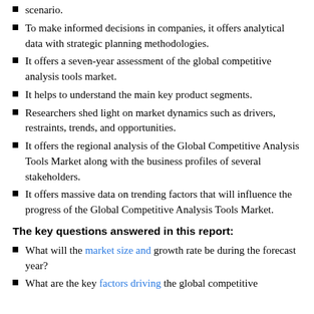scenario.
To make informed decisions in companies, it offers analytical data with strategic planning methodologies.
It offers a seven-year assessment of the global competitive analysis tools market.
It helps to understand the main key product segments.
Researchers shed light on market dynamics such as drivers, restraints, trends, and opportunities.
It offers the regional analysis of the Global Competitive Analysis Tools Market along with the business profiles of several stakeholders.
It offers massive data on trending factors that will influence the progress of the Global Competitive Analysis Tools Market.
The key questions answered in this report:
What will the market size and growth rate be during the forecast year?
What are the key factors driving the global competitive